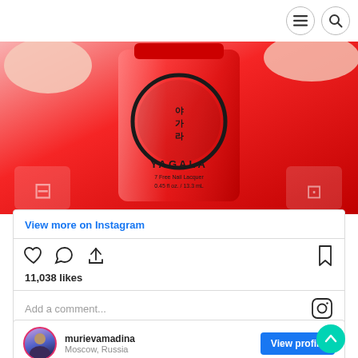[Figure (photo): Instagram screenshot showing a red YAGALA nail lacquer bottle (7 Free Nail Lacquer, 0.45 fl oz / 13.3 mL) with the YAGALA brand logo circle on it, held by fingers against a red background. Navigation icons (menu hamburger and search) shown at top right with circle borders.]
View more on Instagram
[Figure (other): Instagram action icons row: heart (like), comment bubble, share arrow on left; bookmark on right]
11,038 likes
Add a comment...
murievamadina
Moscow, Russia
View profile